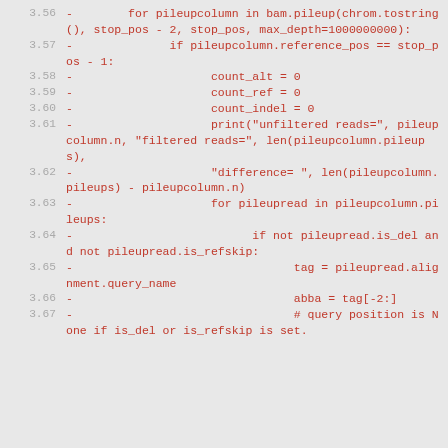3.56  -        for pileupcolumn in bam.pileup(chrom.tostring(), stop_pos - 2, stop_pos, max_depth=1000000000):
3.57  -              if pileupcolumn.reference_pos == stop_pos - 1:
3.58  -                    count_alt = 0
3.59  -                    count_ref = 0
3.60  -                    count_indel = 0
3.61  -                    print("unfiltered reads=", pileupcolumn.n, "filtered reads=", len(pileupcolumn.pileups),
3.62  -                    "difference= ", len(pileupcolumn.pileups) - pileupcolumn.n)
3.63  -                    for pileupread in pileupcolumn.pileups:
3.64  -                          if not pileupread.is_del and not pileupread.is_refskip:
3.65  -                                tag = pileupread.alignment.query_name
3.66  -                                abba = tag[-2:]
3.67  -                                # query position is None if is_del or is_refskip is set.